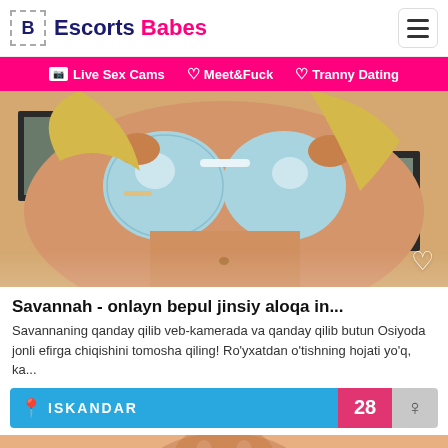Escorts Babes
📷 Live Sex Cams  ♡ Meet&Fuck  ♡ Tranny Dating
[Figure (photo): Photo of a blonde woman in a blue/white bikini top, cropped torso view, with a framed picture on wall in background. Heart icon overlay at bottom right.]
Savannah - onlayn bepul jinsiy aloqa in...
Savannaning qanday qilib veb-kamerada va qanday qilib butun Osiyoda jonli efirga chiqishini tomosha qiling! Ro'yxatdan o'tishning hojati yo'q, ka...
📍 ISKANDAR  28  ♀